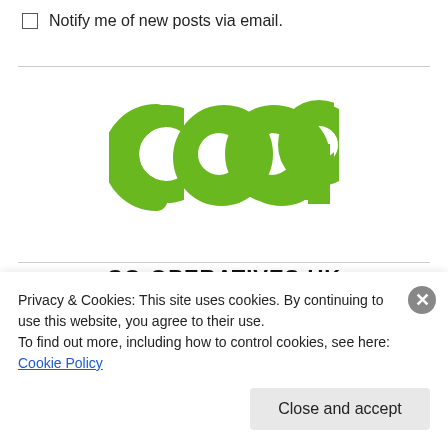Notify me of new posts via email.
[Figure (logo): Co-op green interlocking rings logo (co-op brand)]
[Figure (logo): Co-operatives UK logo: bold text CO-OPERATIVES UK above red interlocking rings]
Privacy & Cookies: This site uses cookies. By continuing to use this website, you agree to their use.
To find out more, including how to control cookies, see here: Cookie Policy
Close and accept